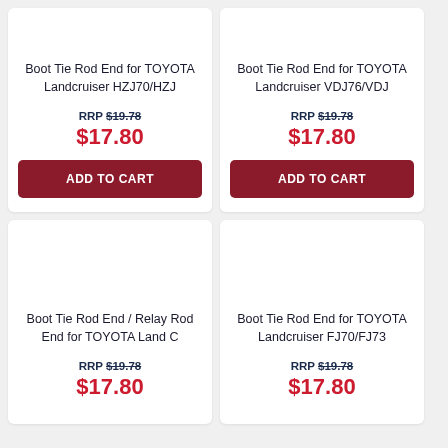Boot Tie Rod End for TOYOTA Landcruiser HZJ70/HZJ
RRP $19.78
$17.80
Boot Tie Rod End for TOYOTA Landcruiser VDJ76/VDJ
RRP $19.78
$17.80
Boot Tie Rod End / Relay Rod End for TOYOTA Land C
RRP $19.78
$17.80
Boot Tie Rod End for TOYOTA Landcruiser FJ70/FJ73
RRP $19.78
$17.80